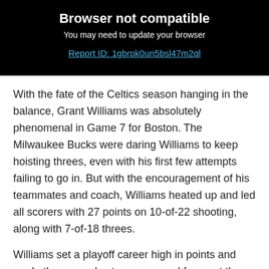[Figure (screenshot): Browser error box with black background showing 'Browser not compatible', subtitle 'You may need to update your browser', and a cyan link 'Report ID: 1gbrpk0un5bsl47m2ql']
With the fate of the Celtics season hanging in the balance, Grant Williams was absolutely phenomenal in Game 7 for Boston. The Milwaukee Bucks were daring Williams to keep hoisting threes, even with his first few attempts failing to go in. But with the encouragement of his teammates and coach, Williams heated up and led all scorers with 27 points on 10-of-22 shooting, along with 7-of-18 threes.
Williams set a playoff career high in points and made threes, and set a new record for most threes attempted